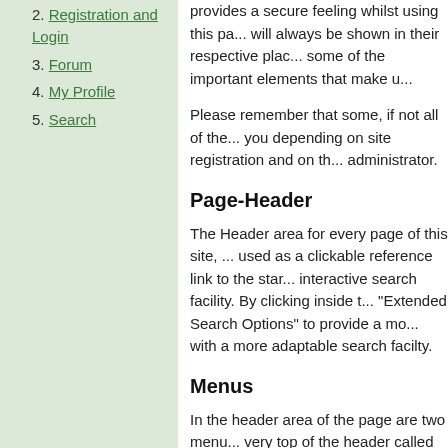2. Registration and Login
3. Forum
4. My Profile
5. Search
provides a secure feeling whilst using this pa... will always be shown in their respective plac... some of the important elements that make u...
Please remember that some, if not all of the... you depending on site registration and on th... administrator.
Page-Header
The Header area for every page of this site, ... used as a clickable reference link to the star... interactive search facility. By clicking inside t... "Extended Search Options" to provide a mo... with a more adaptable search facilty.
Menus
In the header area of the page are two menu... very top of the header called the "User Menu... menu section is located directly under the he... the "General Area". Wherever the user may ... shown in their respective places.